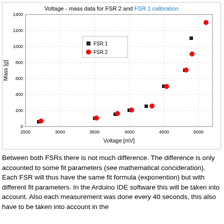[Figure (scatter-plot): Voltage - mass data for FSR 2 and FSR 1 calibration]
Between both FSRs there is not much difference. The difference is only accounted to some fit parameters (see mathematical concideration). Each FSR will thus have the same fit formula (exponention) but with different fit parameters. In the Arduino IDE software this will be taken into account. Also each measurement was done every 40 seconds, this also have to be taken into account in the